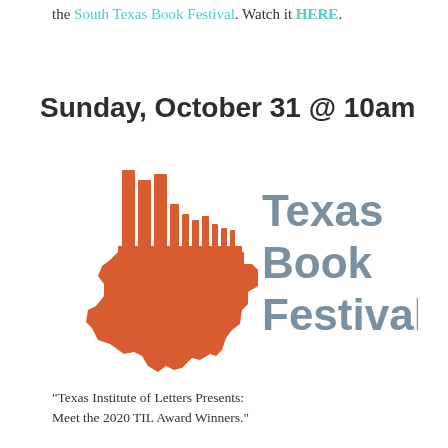the South Texas Book Festival. Watch it HERE.
Sunday, October 31 @ 10am
[Figure (logo): Texas Book Festival logo: orange Texas state silhouette with stylized book spines on top, and 'Texas Book Festival' text in gray to the right.]
"Texas Institute of Letters Presents: Meet the 2020 TIL Award Winners."